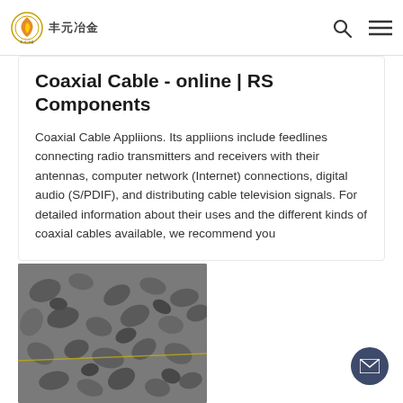丰元冶金
Coaxial Cable - online | RS Components
Coaxial Cable Appliions. Its appliions include feedlines connecting radio transmitters and receivers with their antennas, computer network (Internet) connections, digital audio (S/PDIF), and distributing cable television signals. For detailed information about their uses and the different kinds of coaxial cables available, we recommend you
[Figure (photo): Close-up photo of metallic/mineral gravel or crushed stone aggregate, gray in color, shown with a measuring tape or wire.]